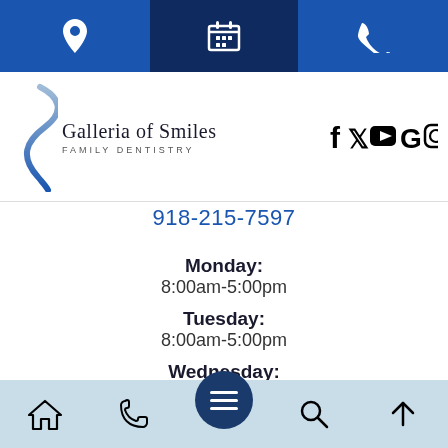[Figure (screenshot): Top navigation bar with location pin icon, calendar icon, and phone icon on blue background]
[Figure (logo): Galleria of Smiles Family Dentistry logo with curved S graphic]
[Figure (infographic): Social media icons: Facebook, Twitter, YouTube, Google, Instagram]
918-215-7597
Monday:
8:00am-5:00pm
Tuesday:
8:00am-5:00pm
Wednesday:
8:00am-5:00pm
Thursday:
8:00am-3:30pm
[Figure (screenshot): Bottom navigation bar with home, phone, menu (hamburger in circle), search, and up arrow icons]